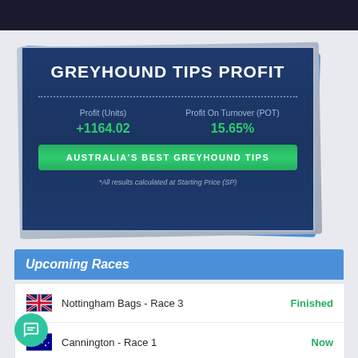GREYHOUND TIPS PROFIT
| Profit (Units) | Profit On Turnover (POT) |
| --- | --- |
| +1164.02 | 15.65% |
AUSTRALIA'S BEST GREYHOUND TIPS
*All results calculated at Starting Price (SP)
Upcoming Races
Nottingham Bags - Race 3 — Finished
Cannington - Race 1 — Now
Traralgon - Race 6 — 1m